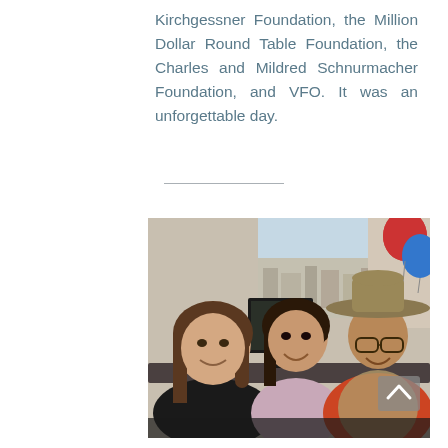Kirchgessner Foundation, the Million Dollar Round Table Foundation, the Charles and Mildred Schnurmacher Foundation, and VFO. It was an unforgettable day.
[Figure (photo): Three people smiling at the camera seated around a desk in an office setting with a city view through the window. Two women and one man wearing a wide-brimmed hat with red plaid shirt. Red and blue balloons visible in the background.]